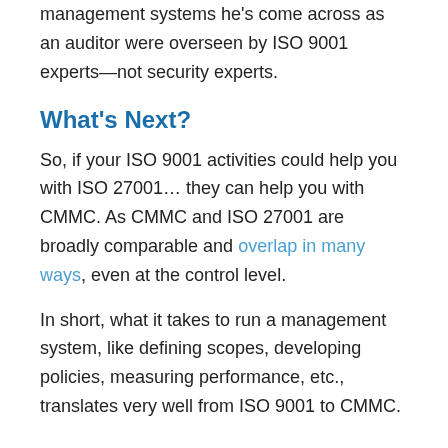management systems he's come across as an auditor were overseen by ISO 9001 experts—not security experts.
What's Next?
So, if your ISO 9001 activities could help you with ISO 27001… they can help you with CMMC. As CMMC and ISO 27001 are broadly comparable and overlap in many ways, even at the control level.
In short, what it takes to run a management system, like defining scopes, developing policies, measuring performance, etc., translates very well from ISO 9001 to CMMC.